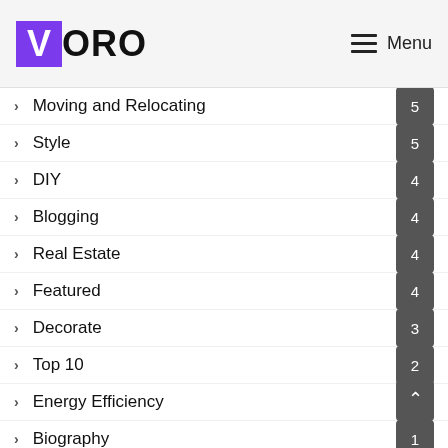VORO — Menu
Moving and Relocating — 5
Style — 5
DIY — 4
Blogging — 4
Real Estate — 4
Featured — 4
Decorate — 3
Top 10 — 2
Energy Efficiency — 2
Biography — 1
Festival — 1
News — 1